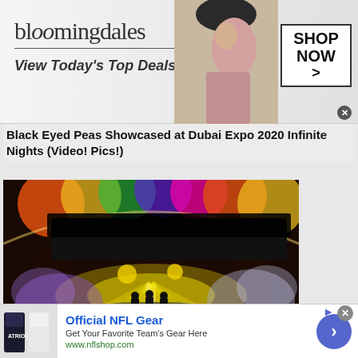[Figure (advertisement): Bloomingdale's banner ad: 'bloomingdales' logo in serif italic font, underline, text 'View Today's Top Deals!', woman in wide-brim hat, 'SHOP NOW >' box with border, close X button]
Black Eyed Peas Showcased at Dubai Expo 2020 Infinite Nights (Video! Pics!)
[Figure (photo): Concert photo showing Black Eyed Peas performing at Dubai Expo 2020 Infinite Nights with colorful stage lighting, yellow lights, purple smoke, large crowd, redacted/blacked-out area at top]
[Figure (advertisement): Official NFL Gear ad: NFL jerseys image on left, 'Official NFL Gear' title in blue, 'Get Your Favorite Team's Gear Here' text, 'www.nflshop.com' in green, blue circle arrow button on right, X close button]